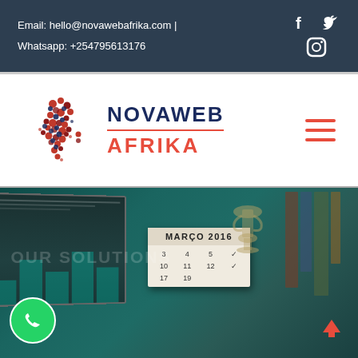Email: hello@novawebafrika.com | Whatsapp: +254795613176
[Figure (logo): Novaweb Afrika logo with Africa map made of red and navy dots, company name NOVAWEB AFRIKA in navy and red]
[Figure (screenshot): Hero section showing a desk with laptop displaying charts, a calendar showing MARCO 2016, trophy/vase, and books on the right, with teal/green overlay and semi-transparent text OUR SOLUTIONS]